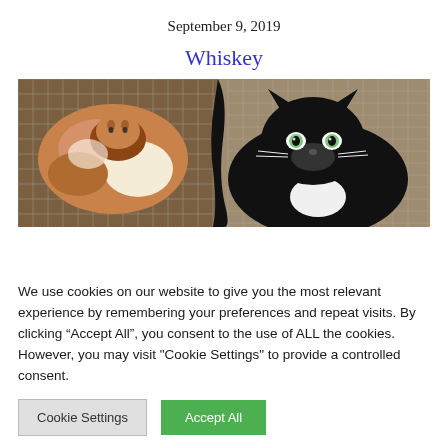September 9, 2019
Whiskey
[Figure (photo): A black and white tuxedo cat with green eyes looking at the camera, inside a shelter cage. In the background is a calico/tortoiseshell cat also inside a cage with wire mesh walls.]
We use cookies on our website to give you the most relevant experience by remembering your preferences and repeat visits. By clicking “Accept All”, you consent to the use of ALL the cookies. However, you may visit "Cookie Settings" to provide a controlled consent.
Cookie Settings   Accept All